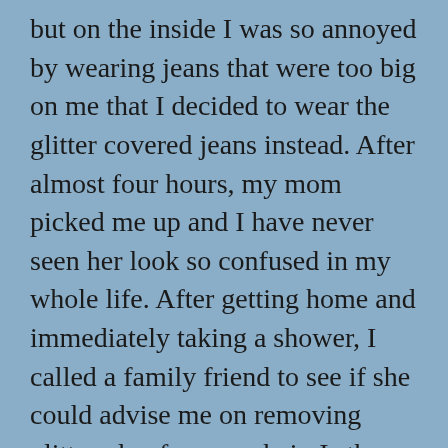but on the inside I was so annoyed by wearing jeans that were too big on me that I decided to wear the glitter covered jeans instead. After almost four hours, my mom picked me up and I have never seen her look so confused in my whole life. After getting home and immediately taking a shower, I called a family friend to see if she could advise me on removing glitter glue from my hair. Is there even a good way to get glitter glue out of your hair?
“Just keep washing it,” Helen said, laughing. “And if that doesn’t work, just call yourself